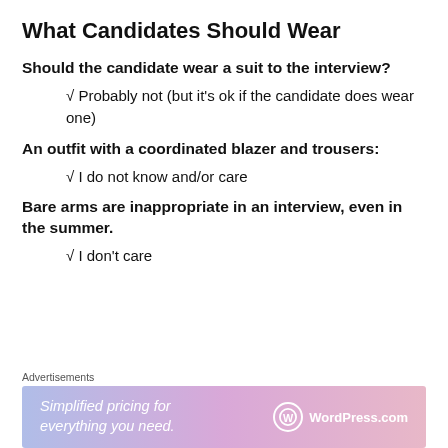What Candidates Should Wear
Should the candidate wear a suit to the interview?
√ Probably not (but it's ok if the candidate does wear one)
An outfit with a coordinated blazer and trousers:
√ I do not know and/or care
Bare arms are inappropriate in an interview, even in the summer.
√ I don't care
[Figure (other): WordPress.com advertisement banner: 'Simplified pricing for everything you need.' with WordPress.com logo]